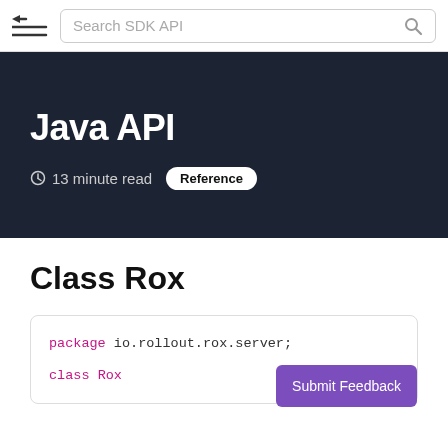Search SDK API
Java API
13 minute read  Reference
Class Rox
package io.rollout.rox.server;

class Rox